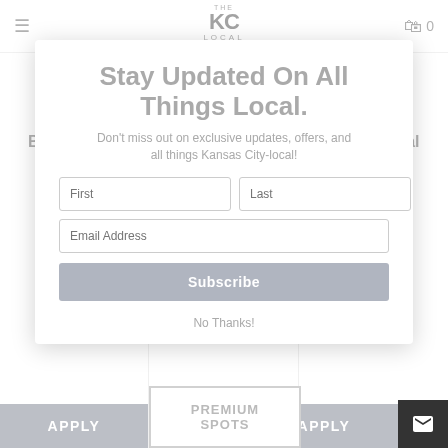The KC Local Craft Fair — navigation bar with hamburger menu and cart (0 items)
Stay Updated On All Things Local.
Don't miss out on exclusive updates, offers, and all things Kansas City-local!
First | Last (input fields)
Email Address (input field)
Subscribe (button)
No Thanks! (link)
$ 20 Early-
Bird Special
$25 Regular Rate
$ 40 Early-
Bird Special
$50 Regular Rate
$ 10 Early-
Bird Special
$15 Regular Rate
PREMIUM SPOTS
APPLY
APPLY